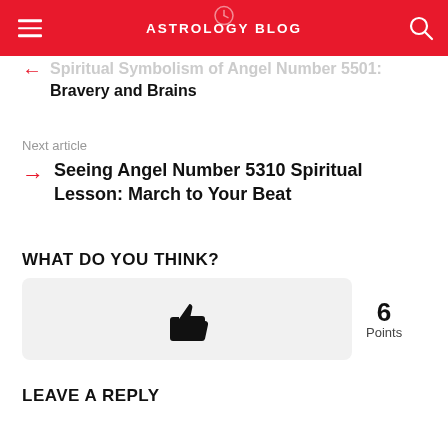ASTROLOGY BLOG
Spiritual Symbolism of Angel Number 5501: Bravery and Brains
Next article
Seeing Angel Number 5310 Spiritual Lesson: March to Your Beat
WHAT DO YOU THINK?
[Figure (other): Thumbs up icon in a light grey vote box showing 6 Points]
LEAVE A REPLY